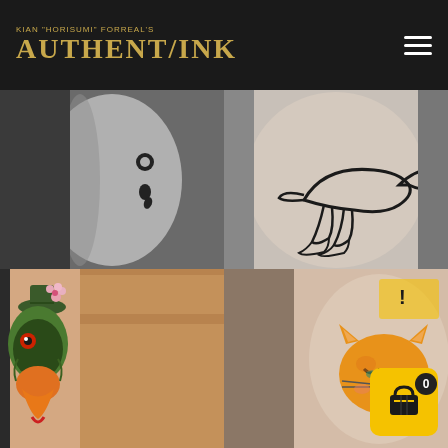KIAN "HORISUMI" FORREAL'S AUTHENT/INK
[Figure (photo): Tattoo studio website screenshot showing logo 'AUTHENT/INK' by Kian Horisumi Forreal on dark background with hamburger menu]
[Figure (photo): Grid of 4 tattoo photos: top-left black and white semicolon tattoo on arm, top-right black and white duck/platypus outline tattoo on leg, bottom-left colorful green and yellow bird-head tattoo with cherry blossom, bottom-right yellow/orange sleepy cat face tattoo with shopping cart badge overlay]